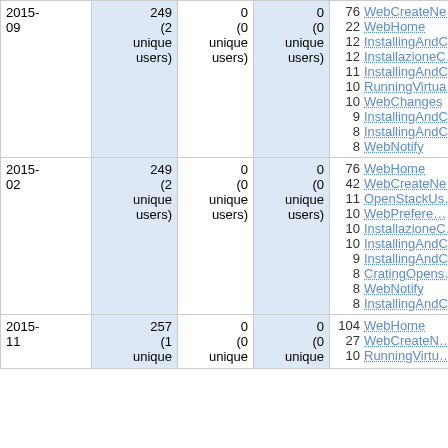| Date | Views | Edits | Uploads | Top pages |
| --- | --- | --- | --- | --- |
| 2015-09 | 249 (2 unique users) | 0 (0 unique users) | 0 (0 unique users) | 76 WebCreateNe...
22 WebHome
12 InstallingAndC...
12 InstallazioneC...
11 InstallingAndC...
10 RunningVirtua...
10 WebChanges
9 InstallingAndC...
8 InstallingAndC...
8 WebNotify |
| 2015-02 | 249 (2 unique users) | 0 (0 unique users) | 0 (0 unique users) | 76 WebHome
42 WebCreateNe...
11 OpenStackUs...
10 WebPrefero...
10 InstallazioneC...
10 InstallingAndC...
9 InstallingAndC...
8 CratingOpens...
8 WebNotify
8 InstallingAndC... |
| 2015-11 | 257 (1 unique users) | 0 (0 unique users) | 0 (0 unique users) | 104 WebHome
27 WebCreateN...
10 RunningVirtu... |